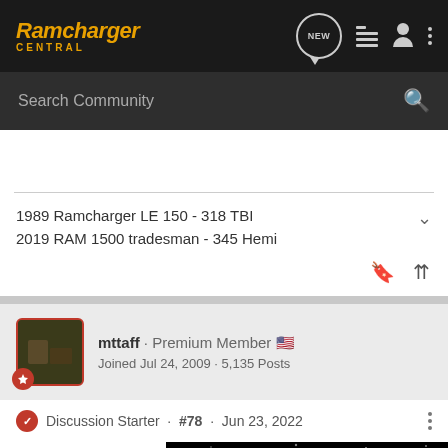Ramcharger Central
Search Community
1989 Ramcharger LE 150 - 318 TBI
2019 RAM 1500 tradesman - 345 Hemi
mttaff · Premium Member 🇺🇸
Joined Jul 24, 2009 · 5,135 Posts
Discussion Starter · #78 · Jun 23, 2022
It's an e
Eric
[Figure (screenshot): Advertisement banner showing WWW.AU-AV.COM in large white bold text on a black starfield background]